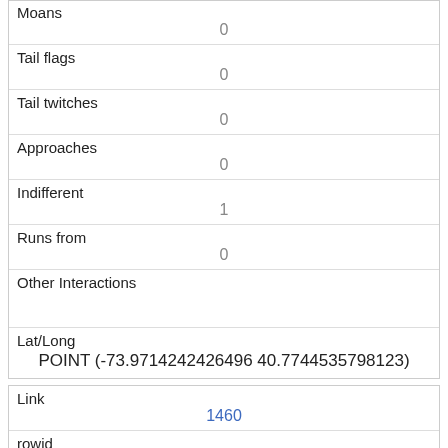| Moans | 0 |
| Tail flags | 0 |
| Tail twitches | 0 |
| Approaches | 0 |
| Indifferent | 1 |
| Runs from | 0 |
| Other Interactions |  |
| Lat/Long | POINT (-73.9714242426496 40.7744535798123) |
| Link | 1460 |
| rowid | 1460 |